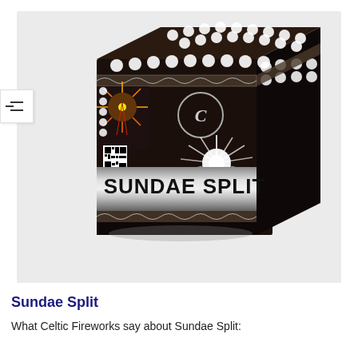[Figure (photo): Product photo of a black fireworks box labeled 'SUNDAE SPLIT' by Celtic Fireworks, with white circular tube tops, a decorative silver Celtic knot band, a Celtic 'C' logo, a starburst white light effect, a small fireworks burst image on the side, and a QR code and barcode.]
Sundae Split
What Celtic Fireworks say about Sundae Split: